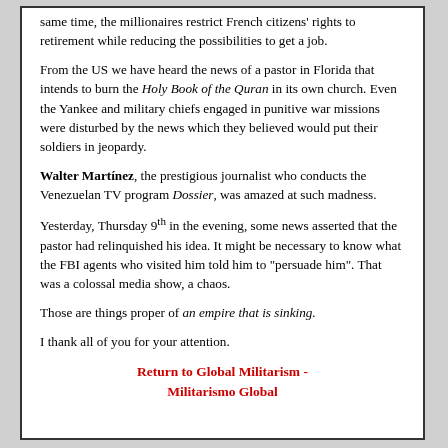same time, the millionaires restrict French citizens' rights to retirement while reducing the possibilities to get a job.
From the US we have heard the news of a pastor in Florida that intends to burn the Holy Book of the Quran in its own church. Even the Yankee and military chiefs engaged in punitive war missions were disturbed by the news which they believed would put their soldiers in jeopardy.
Walter Martínez, the prestigious journalist who conducts the Venezuelan TV program Dossier, was amazed at such madness.
Yesterday, Thursday 9th in the evening, some news asserted that the pastor had relinquished his idea. It might be necessary to know what the FBI agents who visited him told him to "persuade him". That was a colossal media show, a chaos.
Those are things proper of an empire that is sinking.
I thank all of you for your attention.
Return to Global Militarism - Militarismo Global